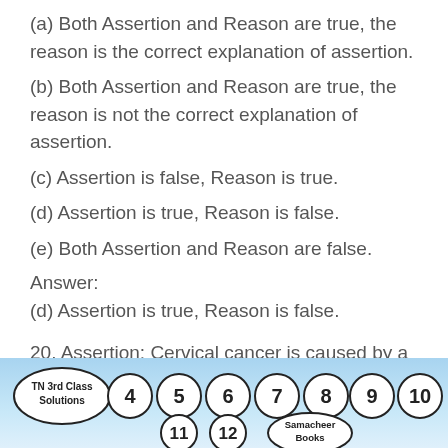(a) Both Assertion and Reason are true, the reason is the correct explanation of assertion.
(b) Both Assertion and Reason are true, the reason is not the correct explanation of assertion.
(c) Assertion is false, Reason is true.
(d) Assertion is true, Reason is false.
(e) Both Assertion and Reason are false.
Answer:
(d) Assertion is true, Reason is false.
20. Assertion: Cervical cancer is caused by a